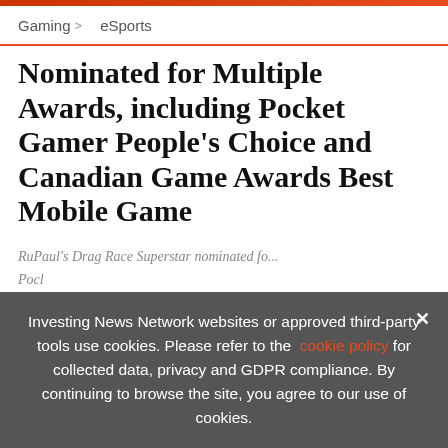Gaming > eSports
Nominated for Multiple Awards, including Pocket Gamer People's Choice and Canadian Game Awards Best Mobile Game
RuPaul's Drag Race Superstar nominated fo... Pocl... Gan... East Side Games nominated for Pocket Gamer...
[Figure (infographic): Advertisement banner: EXCLUSIVE 2022 GAMING OUTLOOK REPORT. TRENDS. FORECASTS. TOP STOCKS. with book image and orange arrow button.]
Investing News Network websites or approved third-party tools use cookies. Please refer to the cookie policy for collected data, privacy and GDPR compliance. By continuing to browse the site, you agree to our use of cookies.